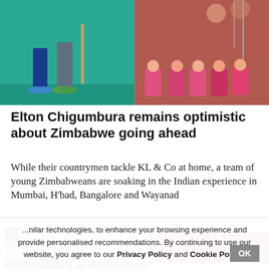[Figure (photo): Split image: left side shows legs of a cricket coach/player on a teal/green surface (cricket coaching session), right side shows young girls in pink uniforms sitting on a red/orange court surface]
Elton Chigumbura remains optimistic about Zimbabwe going ahead
While their countrymen tackle KL & Co at home, a team of young Zimbabweans are soaking in the Indian experience in Mumbai, H'bad, Bangalore and Wayanad
August ... AM IST | Mumbai | Subodh Mayure
[Figure (photo): Popup video thumbnail showing a desert/arid landscape scene with birds, with a circular play button overlay and a close (X) button in top-left corner]
[Figure (other): Colored bar graphic with blue and red sections, possibly an interactive advertisement or poll widget]
...nilar technologies, to enhance your browsing experience and provide personalised recommendations. By continuing to use our website, you agree to our Privacy Policy and Cookie Policy.